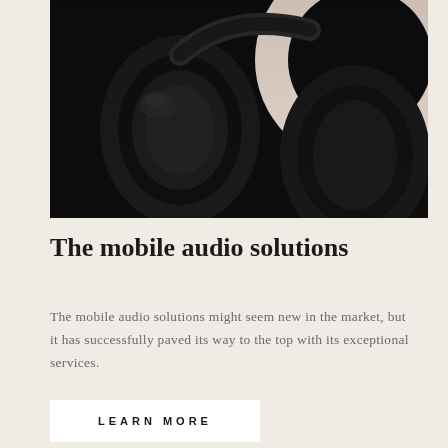[Figure (photo): Close-up photograph of black over-ear headphones on a dark background, with a large pale pink/beige circular shape partially visible in the upper right corner]
The mobile audio solutions
The mobile audio solutions might seem new in the market, but it has successfully paved its way to the top with its exceptional services.
LEARN MORE